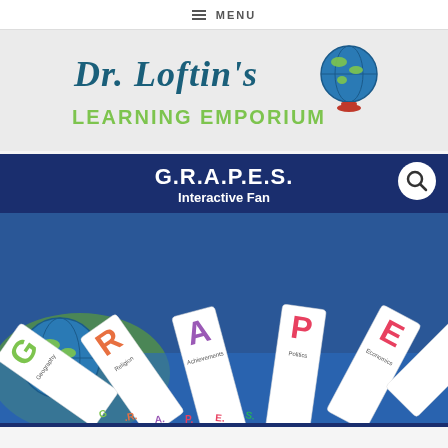≡ MENU
[Figure (logo): Dr. Loftin's Learning Emporium logo with globe illustration]
[Figure (photo): G.R.A.P.E.S. Interactive Fan product image on dark blue background with fan-shaped cards fanned out showing Geography, Religion, Achievements, Politics, Economics, Social Structure labels. A magnifying glass search icon is in the upper right corner.]